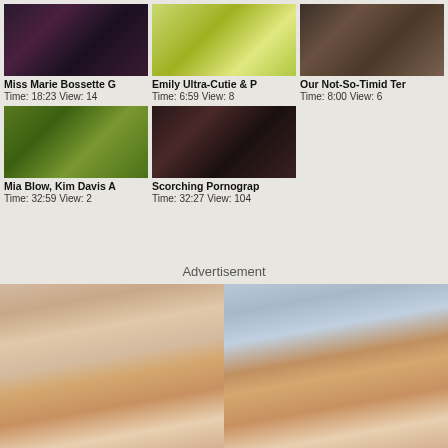[Figure (photo): Video thumbnail 1 - Miss Marie Bossette]
Miss Marie Bossette G
Time: 18:23 View: 14
[Figure (photo): Video thumbnail 2 - Emily Ultra-Cutie & P]
Emily Ultra-Cutie & P
Time: 6:59 View: 8
[Figure (photo): Video thumbnail 3 - Our Not-So-Timid Ter]
Our Not-So-Timid Ter
Time: 8:00 View: 6
[Figure (photo): Video thumbnail 4 - Mia Blow, Kim Davis A]
Mia Blow, Kim Davis A
Time: 32:59 View: 2
[Figure (photo): Video thumbnail 5 - Scorching Pornograp]
Scorching Pornograp
Time: 32:27 View: 104
Advertisement
[Figure (photo): Advertisement banner - two-panel adult content image]